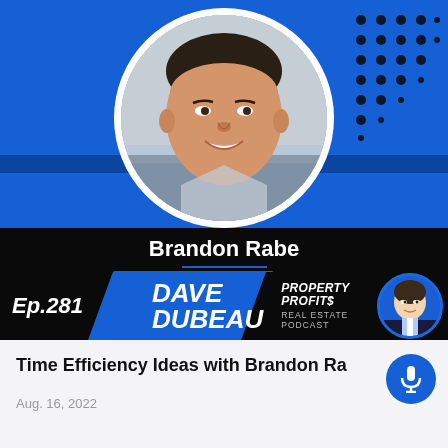[Figure (illustration): Podcast episode card for Dave Dubeau Property Profits Real Estate Podcast, Episode 281, featuring guest Brandon Rabe. Blue background with guest headshot in circular frame at top, name bar, and podcast branding at bottom.]
Brandon Rabe
Ep.281 DAVE DUBEAU PROPERTY PROFIT$ REAL ESTATE PODCAST
Time Efficiency Ideas with Brandon Ra
Aug. 16, 2022